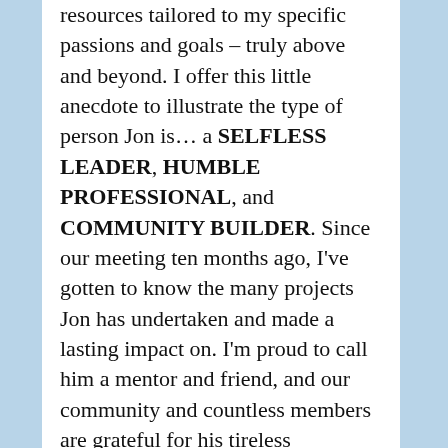resources tailored to my specific passions and goals – truly above and beyond. I offer this little anecdote to illustrate the type of person Jon is… a SELFLESS LEADER, HUMBLE PROFESSIONAL, and COMMUNITY BUILDER. Since our meeting ten months ago, I've gotten to know the many projects Jon has undertaken and made a lasting impact on. I'm proud to call him a mentor and friend, and our community and countless members are grateful for his tireless dedication and passion for helping others.
Ariana Pybus, Technology and Operations for Defense